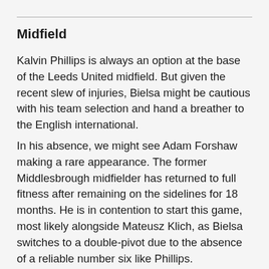Midfield
Kalvin Phillips is always an option at the base of the Leeds United midfield. But given the recent slew of injuries, Bielsa might be cautious with his team selection and hand a breather to the English international.
In his absence, we might see Adam Forshaw making a rare appearance. The former Middlesbrough midfielder has returned to full fitness after remaining on the sidelines for 18 months. He is in contention to start this game, most likely alongside Mateusz Klich, as Bielsa switches to a double-pivot due to the absence of a reliable number six like Phillips.